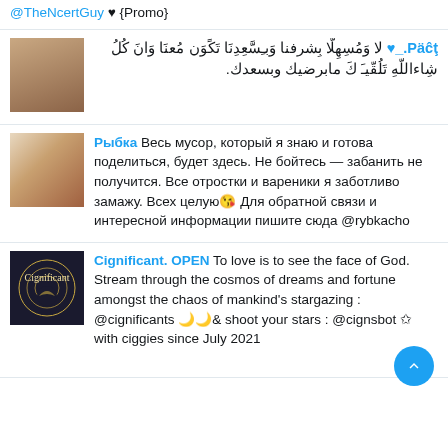@TheNcertGuy ♥ {Promo}
Päĉţ._♥ لا وَمُسِهِلّا بِشرفنا وَبـِسَّعِدِنَا تَكًوَن مُعنَا وَانَ كُلُ شِاءاللّهِ تَلُقّيـَ كَ مابرضيك وبسعدك.
Рыбка Весь мусор, который я знаю и готова поделиться, будет здесь. Не бойтесь — забанить не получится. Все отростки и вареники я заботливо замажу. Всех целую Для обратной связи и интересной информации пишите сюда @rybkacho
Cignificant. OPEN To love is to see the face of God. Stream through the cosmos of dreams and fortune amongst the chaos of mankind's stargazing : @cignificants 🌙& shoot your stars : @cignsbot ✩ with ciggies since July 2021